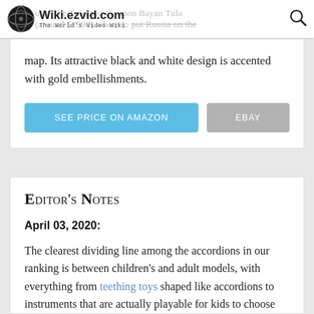Wiki.ezvid.com — The World's Video Wiki
map. Its attractive black and white design is accented with gold embellishments.
SEE PRICE ON AMAZON | EBAY
Editor's Notes
April 03, 2020:
The clearest dividing line among the accordions in our ranking is between children's and adult models, with everything from teething toys shaped like accordions to instruments that are actually playable for kids to choose from, and a wide range of options and price points for grown-ups.